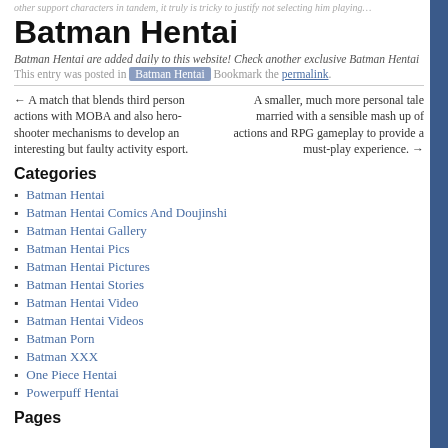other support characters in tandem, it truly is tricky to justify not selecting him playing…
Batman Hentai
Batman Hentai are added daily to this website! Check another exclusive Batman Hentai
This entry was posted in Batman Hentai . Bookmark the permalink.
← A match that blends third person actions with MOBA and also hero-shooter mechanisms to develop an interesting but faulty activity esport.
A smaller, much more personal tale married with a sensible mash up of actions and RPG gameplay to provide a must-play experience. →
Categories
Batman Hentai
Batman Hentai Comics And Doujinshi
Batman Hentai Gallery
Batman Hentai Pics
Batman Hentai Pictures
Batman Hentai Stories
Batman Hentai Video
Batman Hentai Videos
Batman Porn
Batman XXX
One Piece Hentai
Powerpuff Hentai
Pages